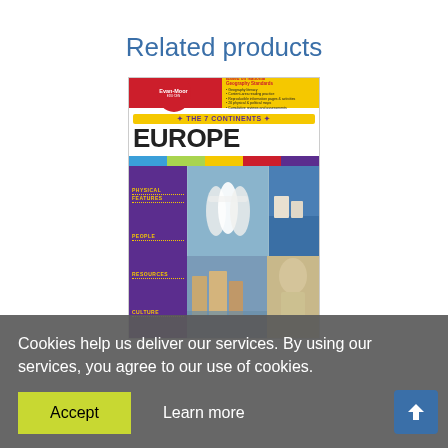Related products
[Figure (illustration): Book cover for 'The 7 Continents: Europe' by Evan-Moor Educational Publishers, Grades 4-6. Cover shows ballet dancers, European coastline, Venice canal, and a classical statue. Features colorful design with purple, yellow, red, blue and green elements.]
Cookies help us deliver our services. By using our services, you agree to our use of cookies.
Accept
Learn more